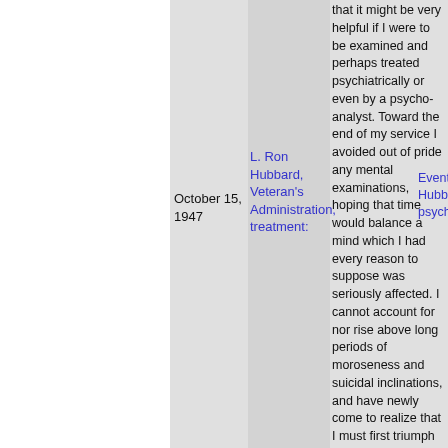October 15, 1947
L. Ron Hubbard, Veteran's Administration, treatment:
that it might be very helpful if I were to be examined and perhaps treated psychiatrically or even by a psycho-analyst. Toward the end of my service I avoided out of pride any mental examinations, hoping that time would balance a mind which I had every reason to suppose was seriously affected. I cannot account for nor rise above long periods of moroseness and suicidal inclinations, and have newly come to realize that I must first triumph above this before I can hope to rehabilitate myself at all."
Event, L. Ron Hubbard, psychiatry